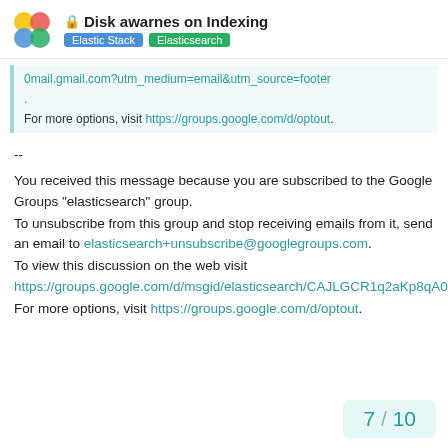🔒 Disk awarnes on Indexing | Elastic Stack | Elasticsearch
0mail.gmail.com?utm_medium=email&utm_source=footer
.
For more options, visit https://groups.google.com/d/optout.
--
You received this message because you are subscribed to the Google Groups "elasticsearch" group.
To unsubscribe from this group and stop receiving emails from it, send an email to elasticsearch+unsubscribe@googlegroups.com.
To view this discussion on the web visit https://groups.google.com/d/msgid/elasticsearch/CAJLGCR1q2aKp8qA0TpyNBG%2BpjKgnsKDdBb7_W%3DeMVPYo9HzUqw%40mail.gmail.com.
For more options, visit https://groups.google.com/d/optout.
7 / 10